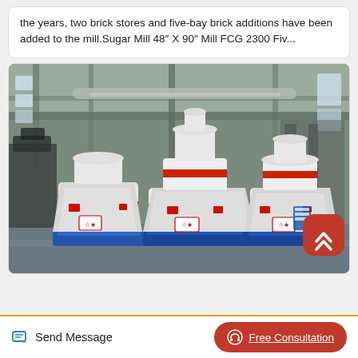the years, two brick stores and five-bay brick additions have been added to the mill.Sugar Mill 48″ X 90″ Mill FCG 2300 Fiv...
[Figure (photo): Industrial photograph of three large white vertical sugar mill grinding machines with red accent rings and blue metal bases, inside a factory/warehouse facility. The machines are of varying heights, the tallest in the center, arranged on a concrete floor.]
Send Message
Free Consultation